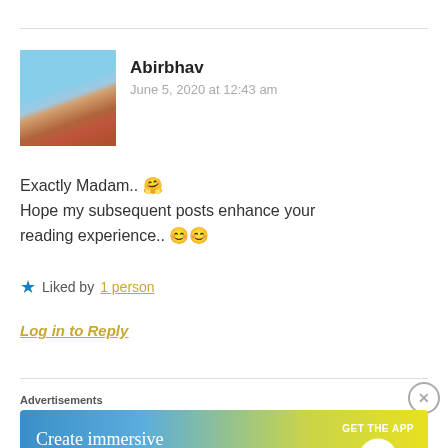Abirbhav
June 5, 2020 at 12:43 am
Exactly Madam.. 🤗
Hope my subsequent posts enhance your reading experience.. 😊😊
★ Liked by 1 person
Log in to Reply
Advertisements
[Figure (other): WordPress advertisement banner: 'Create immersive stories.' with 'GET THE APP' and WordPress logo]